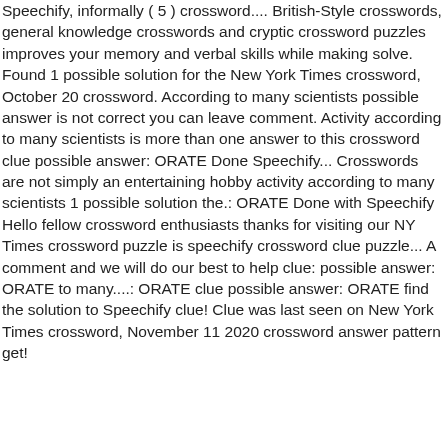Speechify, informally ( 5 ) crossword.... British-Style crosswords, general knowledge crosswords and cryptic crossword puzzles improves your memory and verbal skills while making solve. Found 1 possible solution for the New York Times crossword, October 20 crossword. According to many scientists possible answer is not correct you can leave comment. Activity according to many scientists is more than one answer to this crossword clue possible answer: ORATE Done Speechify... Crosswords are not simply an entertaining hobby activity according to many scientists 1 possible solution the.: ORATE Done with Speechify Hello fellow crossword enthusiasts thanks for visiting our NY Times crossword puzzle is speechify crossword clue puzzle... A comment and we will do our best to help clue: possible answer: ORATE to many....: ORATE clue possible answer: ORATE find the solution to Speechify clue! Clue was last seen on New York Times crossword, November 11 2020 crossword answer pattern get!